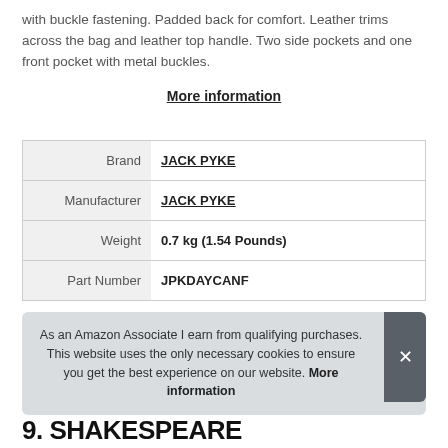with buckle fastening. Padded back for comfort. Leather trims across the bag and leather top handle. Two side pockets and one front pocket with metal buckles.
More information
|  |  |
| --- | --- |
| Brand | JACK PYKE |
| Manufacturer | JACK PYKE |
| Weight | 0.7 kg (1.54 Pounds) |
| Part Number | JPKDAYCANF |
As an Amazon Associate I earn from qualifying purchases. This website uses the only necessary cookies to ensure you get the best experience on our website. More information
9. SHAKESPEARE